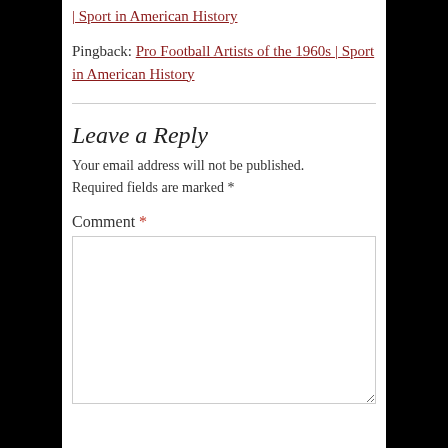| Sport in American History
Pingback: Pro Football Artists of the 1960s | Sport in American History
Leave a Reply
Your email address will not be published. Required fields are marked *
Comment *